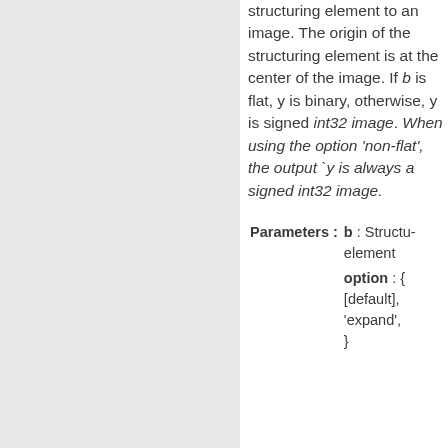structuring element to an image. The origin of the structuring element is at the center of the image. If b is flat, y is binary, otherwise, y is signed int32 image. When using the option 'non-flat', the output `y is always a signed int32 image.
| Parameters : |  |
| --- | --- |
|  | b : Structuring element |
|  | option : { [default], 'expand', } |